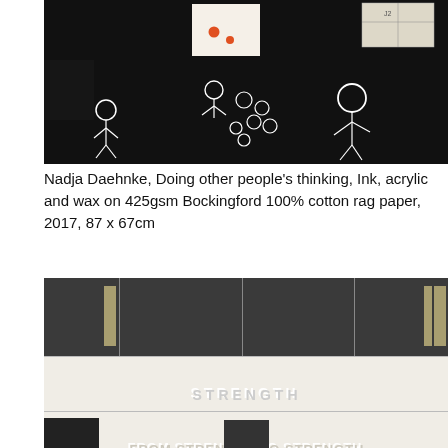[Figure (photo): Artwork: Nadja Daehnke, 'Doing other people's thinking'. Black background with white sketched figures of people, a white rectangular patch with orange dots in upper center, and geometric shapes in upper right. Ink, acrylic and wax work.]
Nadja Daehnke, Doing other people's thinking, Ink, acrylic and wax on 425gsm Bockingford 100% cotton rag paper, 2017, 87 x 67cm
[Figure (photo): Second artwork: large mixed-media work with dark upper band divided by vertical lines, tan/olive vertical bars at left and right edges, and a lower white section with embossed or debossed text reading 'FROM STRENGTH TO STRENGTH' and 'STRENGTH'.]